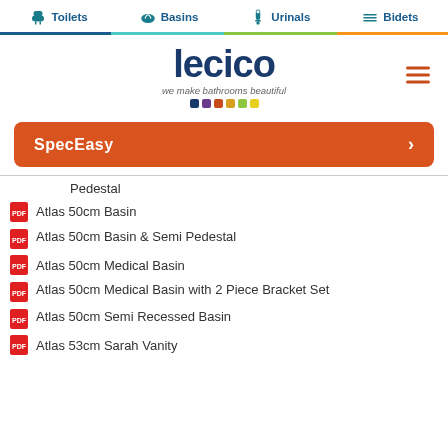Toilets | Basins | Urinals | Bidets
[Figure (logo): Lecico logo with tagline 'we make bathrooms beautiful' and colored squares]
SpecEasy
Pedestal
Atlas 50cm Basin
Atlas 50cm Basin & Semi Pedestal
Atlas 50cm Medical Basin
Atlas 50cm Medical Basin with 2 Piece Bracket Set
Atlas 50cm Semi Recessed Basin
Atlas 53cm Sarah Vanity